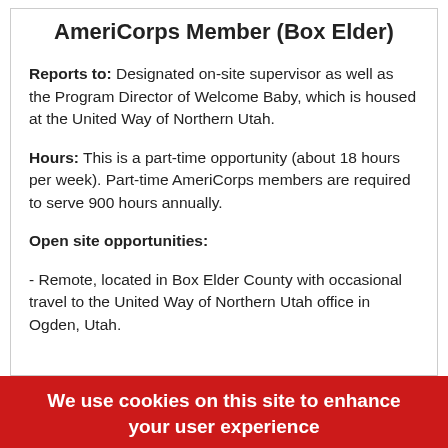AmeriCorps Member (Box Elder)
Reports to: Designated on-site supervisor as well as the Program Director of Welcome Baby, which is housed at the United Way of Northern Utah.
Hours: This is a part-time opportunity (about 18 hours per week). Part-time AmeriCorps members are required to serve 900 hours annually.
Open site opportunities:
- Remote, located in Box Elder County with occasional travel to the United Way of Northern Utah office in Ogden, Utah.
We use cookies on this site to enhance your user experience